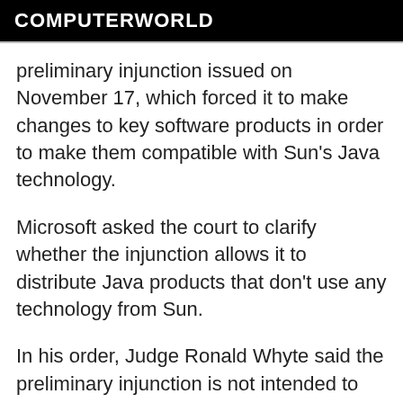COMPUTERWORLD
preliminary injunction issued on November 17, which forced it to make changes to key software products in order to make them compatible with Sun's Java technology.
Microsoft asked the court to clarify whether the injunction allows it to distribute Java products that don't use any technology from Sun.
In his order, Judge Ronald Whyte said the preliminary injunction is not intended to prevent Microsoft from shipping products that don't contain Sun's copyrighted program code. However, at the same time, the order does not attempt to address the question of whether